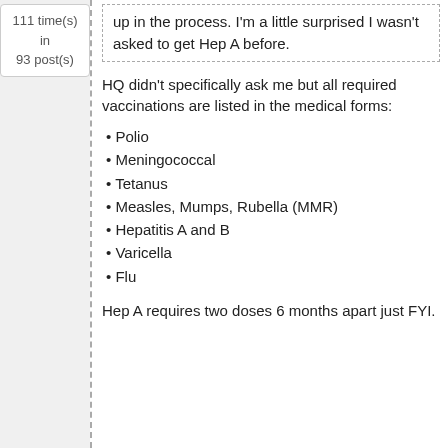111 time(s) in 93 post(s)
up in the process. I'm a little surprised I wasn't asked to get Hep A before.
HQ didn't specifically ask me but all required vaccinations are listed in the medical forms:
Polio
Meningococcal
Tetanus
Measles, Mumps, Rubella (MMR)
Hepatitis A and B
Varicella
Flu
Hep A requires two doses 6 months apart just FYI.